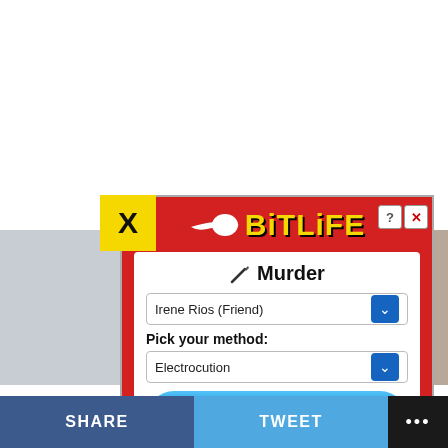[Figure (screenshot): BitLife mobile game advertisement showing a Murder action screen. Contains the BitLife logo in yellow on red background, a Murder dialog with knife icon, a dropdown showing 'Irene Rios (Friend)', a 'Pick your method:' label with 'Electrocution' dropdown, a blue 'Do it!' button, and a 'No, what am I thinking?' cancel button. A yellow X close button appears at top-left of the ad.]
SHARE
TWEET
...